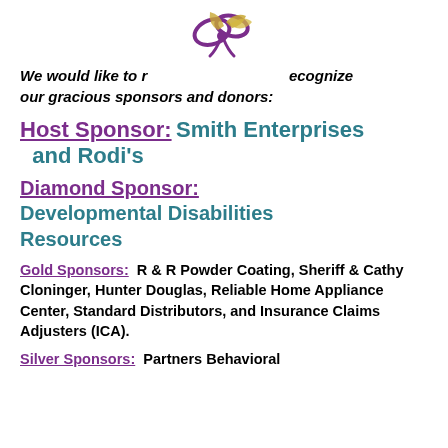[Figure (illustration): Decorative ribbon/bow logo in purple and gold at top center of page]
We would like to recognize our gracious sponsors and donors:
Host Sponsor: Smith Enterprises and Rodi's
Diamond Sponsor: Developmental Disabilities Resources
Gold Sponsors: R & R Powder Coating, Sheriff & Cathy Cloninger, Hunter Douglas, Reliable Home Appliance Center, Standard Distributors, and Insurance Claims Adjusters (ICA).
Silver Sponsors: Partners Behavioral